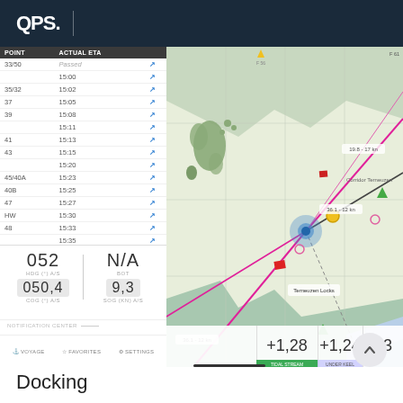QPS.
| POINT | ACTUAL ETA |  |
| --- | --- | --- |
| 33/50 | Passed | ↗ |
|  | 15:00 | ↗ |
| 35/32 | 15:02 | ↗ |
| 37 | 15:05 | ↗ |
| 39 | 15:08 | ↗ |
|  | 15:11 | ↗ |
| 41 | 15:13 | ↗ |
| 43 | 15:15 | ↗ |
|  | 15:20 | ↗ |
| 45/40A | 15:23 | ↗ |
| 40B | 15:25 | ↗ |
| 47 | 15:27 | ↗ |
| HW | 15:30 | ↗ |
| 48 | 15:33 | ↗ |
|  | 15:35 | ↗ |
| 49 | 15:38 | ↗ |
052
HDG (°) A/S
050,4
COG (°) A/S
N/A
BOT
9,3
SOG (KN) A/S
NOTIFICATION CENTER
VOYAGE   FAVORITES   SETTINGS
[Figure (map): Navigation chart showing vessel position with route lines (pink/red), vessel track (grey/black lines), waypoints, buoys and landmarks. Vessel shown as blue circle at center. Yellow dot marks a waypoint. Numbers +1,28 +1,24 -13 shown at bottom of chart.]
+1,28   +1,24   -13
Docking